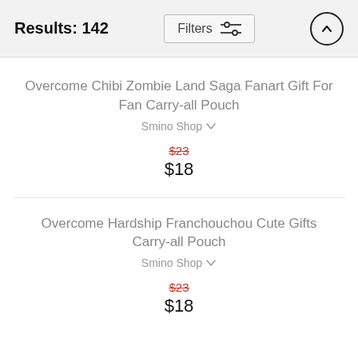Results: 142
Overcome Chibi Zombie Land Saga Fanart Gift For Fan Carry-all Pouch
Smino Shop
$23 $18
Overcome Hardship Franchouchou Cute Gifts Carry-all Pouch
Smino Shop
$23 $18